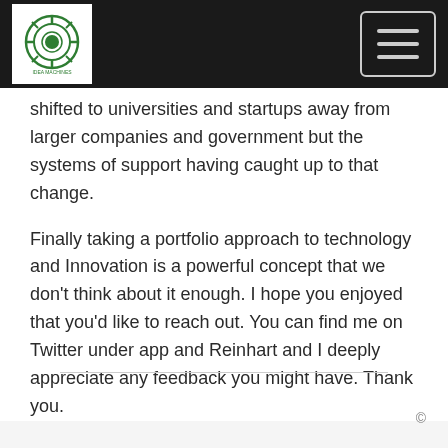[Figure (logo): Idea Machines logo - circular green gear/machine icon with text]
shifted to universities and startups away from larger companies and government but the systems of support having caught up to that change.
Finally taking a portfolio approach to technology and Innovation is a powerful concept that we don't think about it enough. I hope you enjoyed that you'd like to reach out. You can find me on Twitter under app and Reinhart and I deeply appreciate any feedback you might have. Thank you.
©